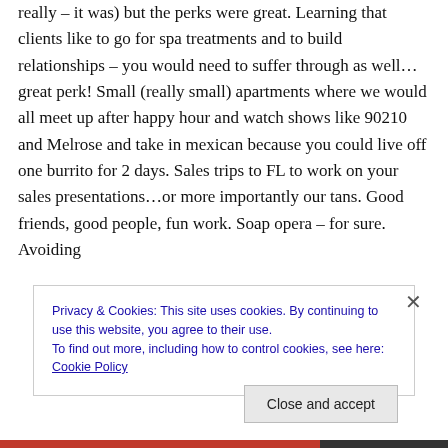really – it was) but the perks were great. Learning that clients like to go for spa treatments and to build relationships – you would need to suffer through as well…great perk! Small (really small) apartments where we would all meet up after happy hour and watch shows like 90210 and Melrose and take in mexican because you could live off one burrito for 2 days. Sales trips to FL to work on your sales presentations…or more importantly our tans. Good friends, good people, fun work. Soap opera – for sure. Avoiding
Privacy & Cookies: This site uses cookies. By continuing to use this website, you agree to their use.
To find out more, including how to control cookies, see here: Cookie Policy